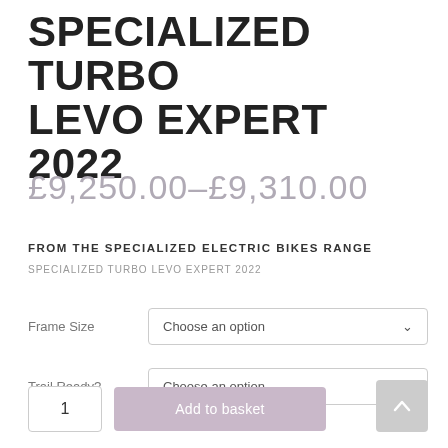SPECIALIZED TURBO LEVO EXPERT 2022
£9,250.00–£9,310.00
FROM THE SPECIALIZED ELECTRIC BIKES RANGE
SPECIALIZED TURBO LEVO EXPERT 2022
Frame Size  Choose an option
Trail Ready?  Choose an option
1  Add to basket